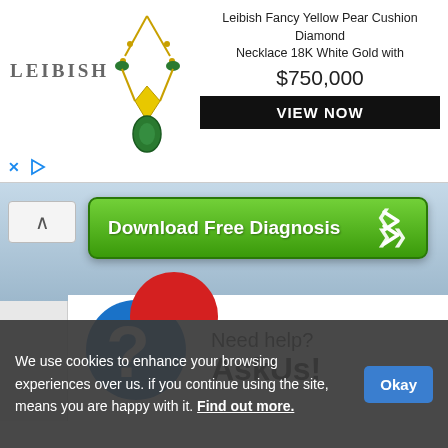[Figure (screenshot): Leibish jewelry advertisement banner showing a fancy yellow pear cushion diamond necklace with price $750,000 and VIEW NOW button]
[Figure (screenshot): Download Free Diagnosis green button banner with chevron arrows]
[Figure (logo): AskUs help widget logo - blue circle with question mark and text 'Need help? AskUs!']
We use cookies to enhance your browsing experiences over us. if you continue using the site, means you are happy with it. Find out more.